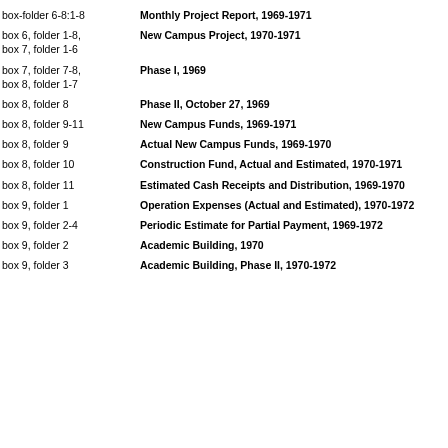box-folder 6-8:1-8 | Monthly Project Report, 1969-1971
box 6, folder 1-8, box 7, folder 1-6 | New Campus Project, 1970-1971
box 7, folder 7-8, box 8, folder 1-7 | Phase I, 1969
box 8, folder 8 | Phase II, October 27, 1969
box 8, folder 9-11 | New Campus Funds, 1969-1971
box 8, folder 9 | Actual New Campus Funds, 1969-1970
box 8, folder 10 | Construction Fund, Actual and Estimated, 1970-1971
box 8, folder 11 | Estimated Cash Receipts and Distribution, 1969-1970
box 9, folder 1 | Operation Expenses (Actual and Estimated), 1970-1972
box 9, folder 2-4 | Periodic Estimate for Partial Payment, 1969-1972
box 9, folder 2 | Academic Building, 1970
box 9, folder 3 | Academic Building, Phase II, 1970-1972